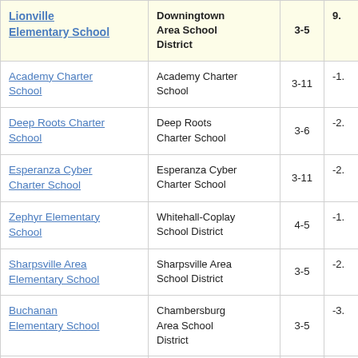| School | District | Grades | Score |
| --- | --- | --- | --- |
| Lionville Elementary School | Downingtown Area School District | 3-5 | 9. |
| Academy Charter School | Academy Charter School | 3-11 | -1. |
| Deep Roots Charter School | Deep Roots Charter School | 3-6 | -2. |
| Esperanza Cyber Charter School | Esperanza Cyber Charter School | 3-11 | -2. |
| Zephyr Elementary School | Whitehall-Coplay School District | 4-5 | -1. |
| Sharpsville Area Elementary School | Sharpsville Area School District | 3-5 | -2. |
| Buchanan Elementary School | Chambersburg Area School District | 3-5 | -3. |
| George J Plava Elementary School | Albert Gallatin Area School | 3-5 | -3. |